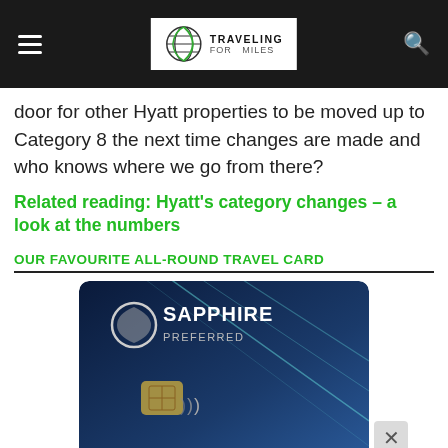TRAVELING FOR MILES
door for other Hyatt properties to be moved up to Category 8 the next time changes are made and who knows where we go from there?
Related reading: Hyatt's category changes – a look at the numbers
OUR FAVOURITE ALL-ROUND TRAVEL CARD
[Figure (photo): Chase Sapphire Preferred credit card on blue gradient background with teal diagonal lines]